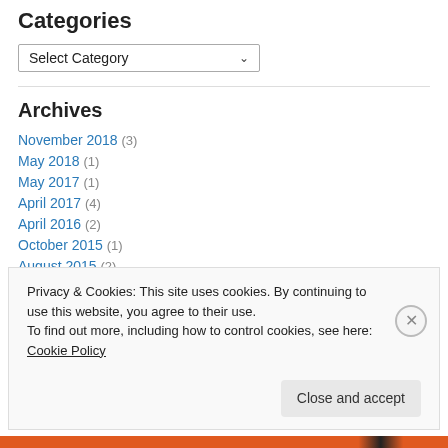Categories
Select Category
Archives
November 2018 (3)
May 2018 (1)
May 2017 (1)
April 2017 (4)
April 2016 (2)
October 2015 (1)
August 2015 (2)
Privacy & Cookies: This site uses cookies. By continuing to use this website, you agree to their use. To find out more, including how to control cookies, see here: Cookie Policy
Close and accept